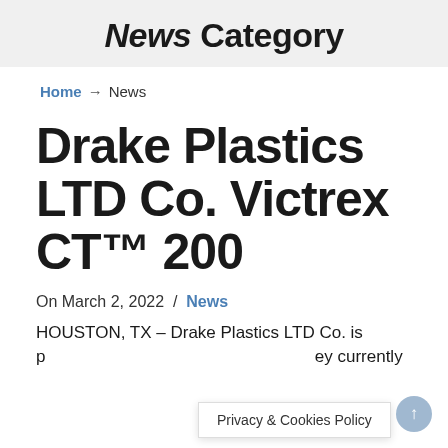News Category
Home → News
Drake Plastics LTD Co. Victrex CT™ 200
On March 2, 2022  /  News
HOUSTON, TX – Drake Plastics LTD Co. is p...ey currently
Privacy & Cookies Policy